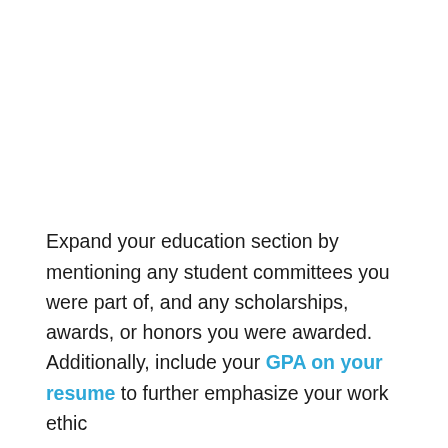Expand your education section by mentioning any student committees you were part of, and any scholarships, awards, or honors you were awarded. Additionally, include your GPA on your resume to further emphasize your work ethic